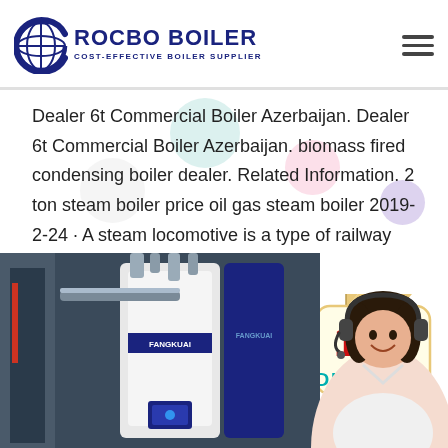ROCBO BOILER - COST-EFFECTIVE BOILER SUPPLIER
Dealer 6t Commercial Boiler Azerbaijan. Dealer 6t Commercial Boiler Azerbaijan. biomass fired condensing boiler dealer. Related Information. 2 ton steam boiler price oil gas steam boiler 2019-2-24 · A steam locomotive is a type of railway locomotive that produce…
Get Price
[Figure (infographic): 10% DISCOUNT badge with red and teal text on cream background with ribbon decoration]
[Figure (photo): Industrial boiler equipment (Fangkuai brand) in a facility, alongside a circular portrait of a female customer service advisor wearing a headset]